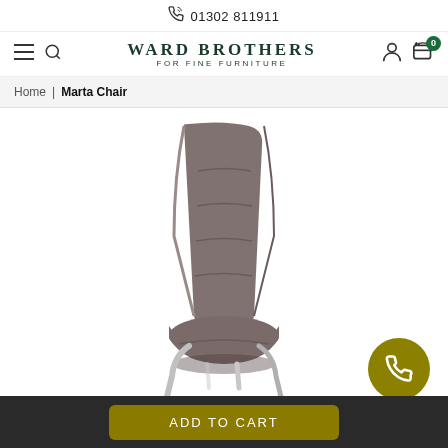01302 811911
[Figure (logo): Ward Brothers For Fine Furniture logo with navigation icons (hamburger menu, search, account, cart with 0 badge)]
Home | Marta Chair
[Figure (photo): Marta Chair - a modern dining chair with grey/taupe padded back and seat cushion with horizontal stitching lines, mounted on chrome cantilever legs. The chair is photographed on a white background.]
ADD TO CART